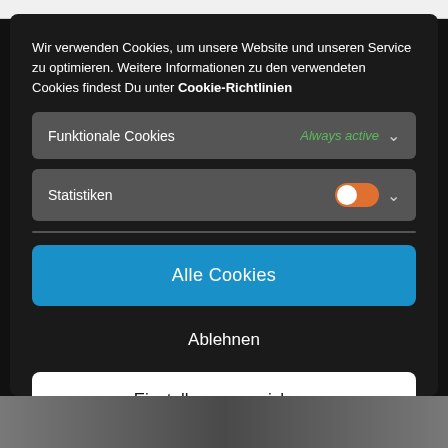Wir verwenden Cookies, um unsere Website und unseren Service zu optimieren. Weitere Informationen zu den verwendeten Cookies findest Du unter Cookie-Richtlinien
Funktionale Cookies — Always active
Statistiken
Alle Cookies
Ablehnen
Einstellungen speichern
Cookie Policy